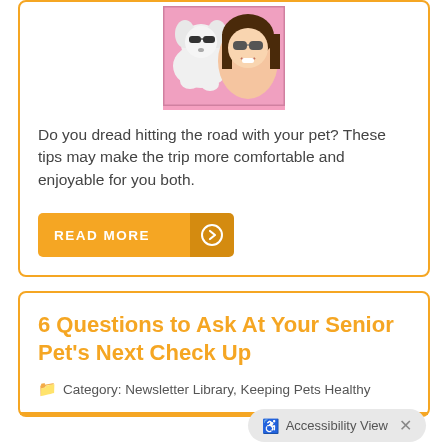[Figure (photo): Woman with sunglasses smiling next to a white dog with sunglasses, both looking out of a car window]
Do you dread hitting the road with your pet? These tips may make the trip more comfortable and enjoyable for you both.
READ MORE →
6 Questions to Ask At Your Senior Pet's Next Check Up
Category: Newsletter Library, Keeping Pets Healthy
Accessibility View ×